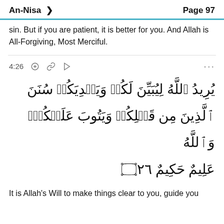An-Nisa    Page 97
sin. But if you are patient, it is better for you. And Allah is All-Forgiving, Most Merciful.
4:26
[Figure (other): Arabic Quran verse 4:26 in large calligraphic Arabic script]
It is Allah's Will to make things clear to you, guide you